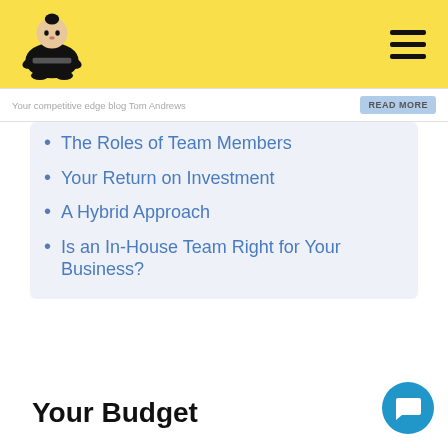Site logo and hamburger menu navigation
Your competitive edge blog - Tom Andrews - READ MORE
The Roles of Team Members
Your Return on Investment
A Hybrid Approach
Is an In-House Team Right for Your Business?
Your Budget
The first and most constraining factor for your marketing team is your budget. How much